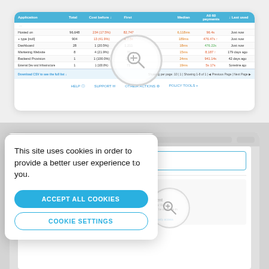[Figure (screenshot): Screenshot of a web application interface showing a data table with columns for Application, Total, Cost Before, First, Median, Last 60 payments, Last used. Rows include: Hosted on, + type [null], Dashboard, Marketing Website, Backend Provision, External Dev and Infrastructure. Table has a blue header row, zebra-striped rows with red/orange metric values, a download CSV link at the bottom footer, pagination controls, and navigation links for Help, Support, Other Actions, and Policy Tools.]
[Figure (screenshot): Cookie consent popup overlay on top of a blurred app screenshot. The popup reads: 'This site uses cookies in order to provide a better user experience to you.' with two buttons: 'ACCEPT ALL COOKIES' (blue filled) and 'COOKIE SETTINGS' (white with blue border). Behind the popup, a partial app screen shows an 'Invite team members' box and two agent cards: 'Python Agent' and 'Ruby Agent' with descriptions about platform agents being available.]
This site uses cookies in order to provide a better user experience to you.
ACCEPT ALL COOKIES
COOKIE SETTINGS